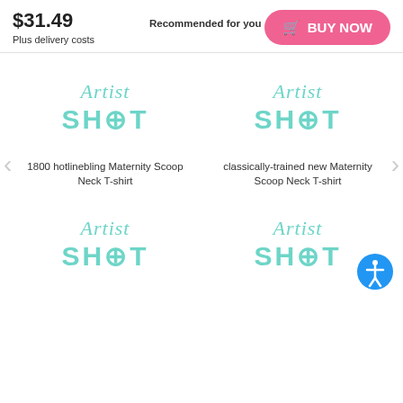$31.49
Plus delivery costs
BUY NOW
[Figure (logo): Artist Shot logo - teal cursive 'Artist' with 'SHOT' in bold teal letters - product 1]
1800 hotlinebling Maternity Scoop Neck T-shirt
[Figure (logo): Artist Shot logo - teal cursive 'Artist' with 'SHOT' in bold teal letters - product 2]
classically-trained new Maternity Scoop Neck T-shirt
[Figure (logo): Artist Shot logo - teal cursive 'Artist' with 'SHOT' in bold teal letters - product 3]
[Figure (logo): Artist Shot logo - teal cursive 'Artist' with 'SHOT' in bold teal letters - product 4]